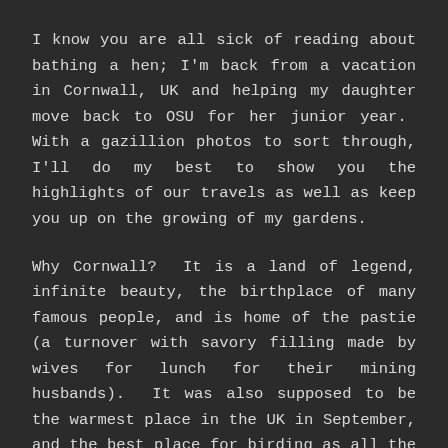I know you are all sick of reading about bathing a hen; I'm back from a vacation in Cornwall, UK and helping my daughter move back to OSU for her junior year. With a gazillion photos to sort through, I'll do my best to show you the highlights of our travels as well as keep you up on the growing of my gardens.
Why Cornwall? It is a land of legend, infinite beauty, the birthplace of many famous people, and is home of the pastie (a turnover with savory filling made by wives for lunch for their mining husbands). It was also supposed to be the warmest place in the UK in September, and the best place for birding as all the migrants fly near there. What no forecasting website let me know was that the hurricane that had hit the US East coast had moved north near Ireland, and gale-force winds were hitting most of upper Europe. Cornwall was no exception. The winds hit on the third day of our trip, and let up towards the end, so